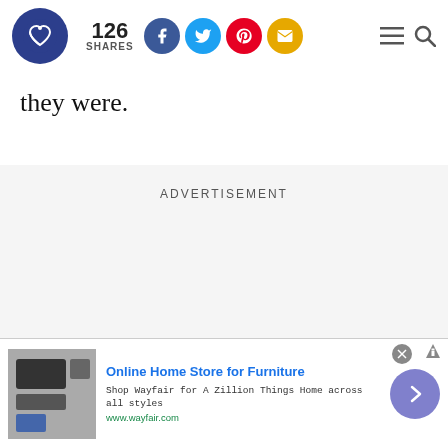126 SHARES
they were.
ADVERTISEMENT
[Figure (screenshot): Bottom ad banner for Wayfair: Online Home Store for Furniture. Shows appliance image, title, tagline 'Shop Wayfair for A Zillion Things Home across all styles', URL www.wayfair.com, close button, and forward arrow button.]